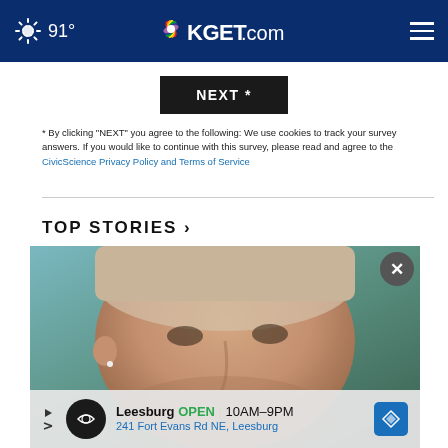91° KGET.com
[Figure (screenshot): NEXT * button (dark background, white text)]
* By clicking "NEXT" you agree to the following: We use cookies to track your survey answers. If you would like to continue with this survey, please read and agree to the CivicScience Privacy Policy and Terms of Service
TOP STORIES ›
[Figure (photo): Close-up photo of a person's face, smiling, with an advertisement overlay at the bottom for Leesburg OPEN 10AM–9PM, 241 Fort Evans Rd NE, Leesburg]